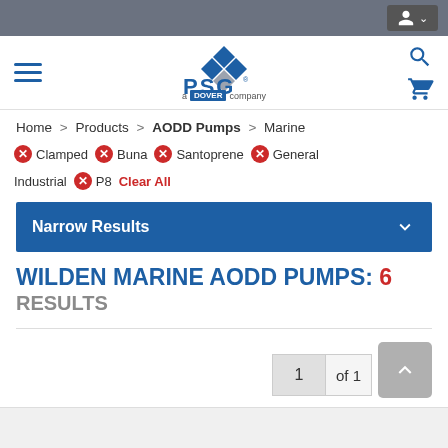PSG - a Dover company website navigation header
Home > Products > AODD Pumps > Marine
Clamped
Buna
Santoprene
General Industrial
P8
Clear All
Narrow Results
WILDEN MARINE AODD PUMPS: 6 RESULTS
1 of 1